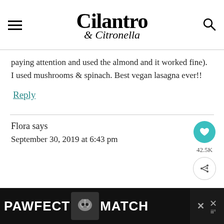Cilantro & Citronella
paying attention and used the almond and it worked fine).
I used mushrooms & spinach. Best vegan lasagna ever!!
Reply
Flora says
September 30, 2019 at 6:43 pm
[Figure (screenshot): Ad banner at bottom: PAWFECT MATCH with cat image, on dark background]